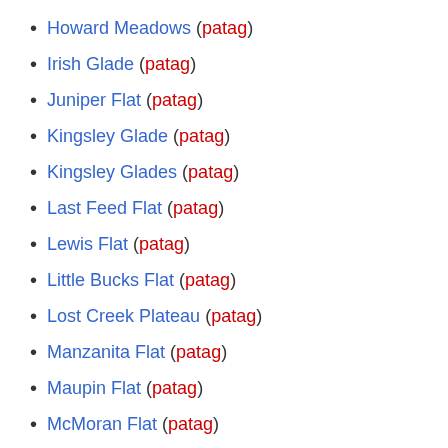Howard Meadows (patag)
Irish Glade (patag)
Juniper Flat (patag)
Kingsley Glade (patag)
Kingsley Glades (patag)
Last Feed Flat (patag)
Lewis Flat (patag)
Little Bucks Flat (patag)
Lost Creek Plateau (patag)
Manzanita Flat (patag)
Maupin Flat (patag)
McMoran Flat (patag)